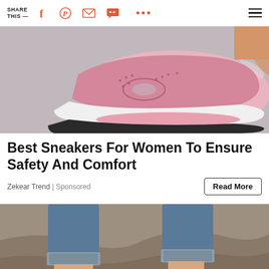SHARE THIS — (social share icons: Facebook, Pinterest, Email, Message, More, Menu)
[Figure (photo): Close-up photo of pink slip-on sneakers with cutout detailing and white air-cushion sole on a gray surface]
Best Sneakers For Women To Ensure Safety And Comfort
Zekear Trend | Sponsored
Read More
[Figure (photo): Close-up photo of gray/taupe cutout wedge sandals worn with rolled-up blue jeans, against a rocky background]